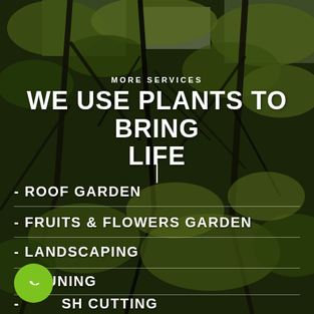[Figure (photo): Dark forest/garden background photo with tree branches and green foliage, semi-dark overlay]
MORE SERVICES
WE USE PLANTS TO BRING LIFE
- ROOF GARDEN
- FRUITS & FLOWERS GARDEN
- LANDSCAPING
- PRUNING
- BUSH CUTTING